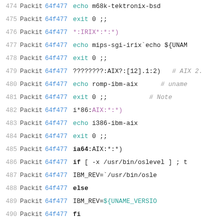[Figure (screenshot): Source code viewer showing lines 474-495 of a shell script with line numbers, commit hashes (Packit 64f477), and code snippets related to system architecture detection (m68k, IRIX, AIX, ia64 targets).]